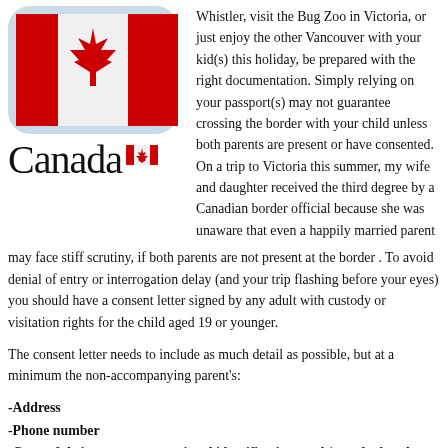[Figure (illustration): Canadian flag icon (rounded rectangle app icon style) with maple leaf, above the Canada wordmark with maple leaf logo]
Whistler, visit the Bug Zoo in Victoria, or just enjoy the other Vancouver with your kid(s) this holiday, be prepared with the right documentation. Simply relying on your passport(s) may not guarantee crossing the border with your child unless both parents are present or have consented. On a trip to Victoria this summer, my wife and daughter received the third degree by a Canadian border official because she was unaware that even a happily married parent may face stiff scrutiny, if both parents are not present at the border . To avoid denial of entry or interrogation delay (and your trip flashing before your eyes) you should have a consent letter signed by any adult with custody or visitation rights for the child aged 19 or younger.
The consent letter needs to include as much detail as possible, but at a minimum the non-accompanying parent's:
-Address
-Phone number
-Copy of their passport or national identification card (attached to the